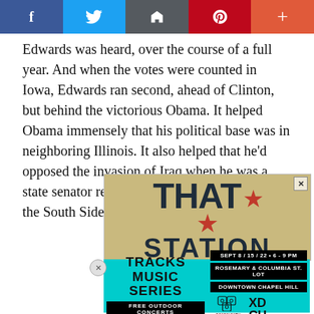[Figure (screenshot): Social media share bar with Facebook, Twitter, home/save, Pinterest, and plus buttons]
Edwards was heard, over the course of a full year. And when the votes were counted in Iowa, Edwards ran second, ahead of Clinton, but behind the victorious Obama. It helped Obama immensely that his political base was in neighboring Illinois. It also helped that he'd opposed the invasion of Iraq when he was a state senator representing a liberal district on the South Side of Chicago.
[Figure (screenshot): Advertisement for 'That Station Tracks Music Series' — a free outdoor concert event on Sept 8/15/22, 6-9 PM at Rosemary & Columbia St. Lot, Downtown Chapel Hill, sponsored by Community Arts & Culture XDCH]